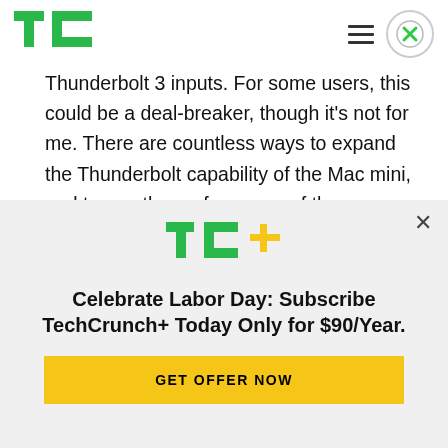[Figure (logo): TechCrunch TC green logo in top left header]
Thunderbolt 3 inputs. For some users, this could be a deal-breaker, though it's not for me. There are countless ways to expand the Thunderbolt capability of the Mac mini, and to me, the performance of the machine outweighs the port limitation.
The M1 Mac mini also lacks a 10GB Ethernet
[Figure (logo): TC+ TechCrunch Plus logo in green and yellow in overlay banner]
Celebrate Labor Day: Subscribe TechCrunch+ Today Only for $90/Year.
GET OFFER NOW